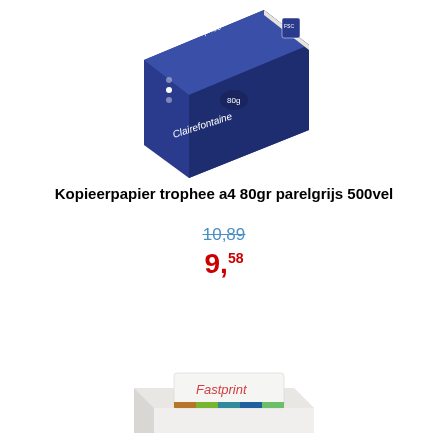[Figure (photo): Clairefontaine Trophee A4 80g parelgrijs 500 vel paper ream box, blue packaging with cream/pearl grey paper visible]
Kopieerpapier trophee a4 80gr parelgrijs 500vel
10,89 (strikethrough price)
9,58 (sale price in red)
[Figure (photo): Fastprint paper ream with Fastprint logo and colored stripe band]